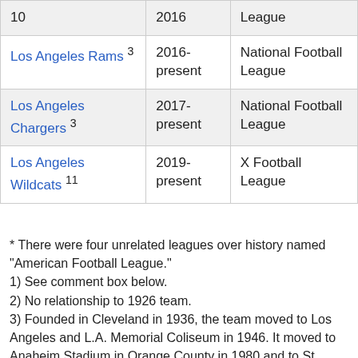| Team | Years | League |
| --- | --- | --- |
| 10 | 2016 | League |
| Los Angeles Rams 3 | 2016-present | National Football League |
| Los Angeles Chargers 3 | 2017-present | National Football League |
| Los Angeles Wildcats 11 | 2019-present | X Football League |
* There were four unrelated leagues over history named "American Football League."
1) See comment box below.
2) No relationship to 1926 team.
3) Founded in Cleveland in 1936, the team moved to Los Angeles and L.A. Memorial Coliseum in 1946. It moved to Anaheim Stadium in Orange County in 1980 and to St. Louis in 1995. The team returned to Los Angeles in 2016.
4) In 1960, team moved to San Diego and the NFL